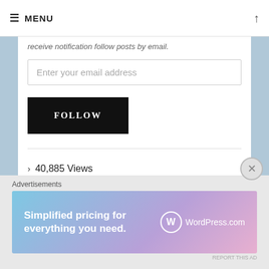MENU
receive notification follow posts by email.
Enter your email address
FOLLOW
> 40,885 Views
Advertisements
[Figure (infographic): WordPress.com advertisement banner: 'Simplified pricing for everything you need.' with WordPress.com logo on gradient background.]